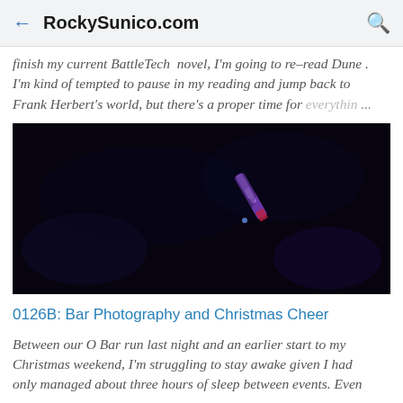RockySunico.com
finish my current BattleTech novel, I'm going to re-read Dune. I'm kind of tempted to pause in my reading and jump back to Frank Herbert's world, but there's a proper time for everythin ...
[Figure (photo): Dark photograph taken in a bar showing a blurry purple/violet light artifact against a very dark background, likely a night or bar photography shot.]
0126B: Bar Photography and Christmas Cheer
Between our O Bar run last night and an earlier start to my Christmas weekend, I'm struggling to stay awake given I had only managed about three hours of sleep between events. Even